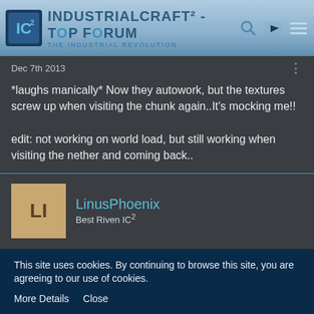[Figure (screenshot): IndustrialCraft² Top Forum banner header with logo, title text 'IndustrialCraft² - Top Forum', subtitle 'The Industrial Revolution', search icon and navigation icons]
Dec 7th 2013
*laughs manically* Now they autowork, but the textures screw up when visiting the chunk again..It's mocking me!!

edit: not working on world load, but still working when visiting the nether and coming back..
LinusPhoenix
Best Riven IC²
Dec 20th 2013
This site uses cookies. By continuing to browse this site, you are agreeing to our use of cookies.
More Details   Close